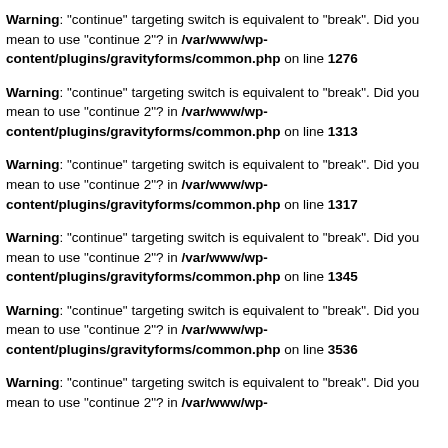Warning: "continue" targeting switch is equivalent to "break". Did you mean to use "continue 2"? in /var/www/wp-content/plugins/gravityforms/common.php on line 1276
Warning: "continue" targeting switch is equivalent to "break". Did you mean to use "continue 2"? in /var/www/wp-content/plugins/gravityforms/common.php on line 1313
Warning: "continue" targeting switch is equivalent to "break". Did you mean to use "continue 2"? in /var/www/wp-content/plugins/gravityforms/common.php on line 1317
Warning: "continue" targeting switch is equivalent to "break". Did you mean to use "continue 2"? in /var/www/wp-content/plugins/gravityforms/common.php on line 1345
Warning: "continue" targeting switch is equivalent to "break". Did you mean to use "continue 2"? in /var/www/wp-content/plugins/gravityforms/common.php on line 3536
Warning: "continue" targeting switch is equivalent to "break". Did you mean to use "continue 2"? in /var/www/wp-content/plugins/gravityforms/common.php on line ...